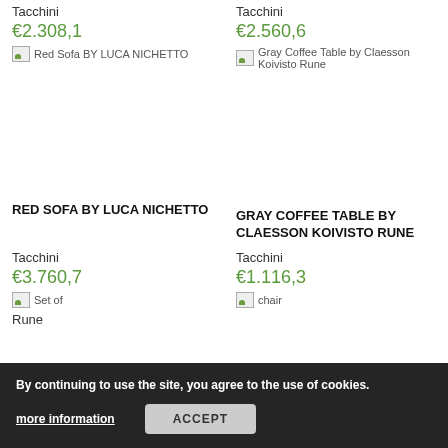Tacchini
Tacchini
€2.308,1
€2.560,6
[Figure (photo): Red Sofa BY LUCA NICHETTO product image placeholder]
[Figure (photo): Gray Coffee Table by Claesson Koivisto Rune product image placeholder]
RED SOFA BY LUCA NICHETTO
GRAY COFFEE TABLE BY CLAESSON KOIVISTO RUNE
Tacchini
Tacchini
€3.760,7
€1.116,3
[Figure (photo): Set of product image placeholder]
[Figure (photo): Chair by Claesson Koivisto Rune product image placeholder]
By continuing to use the site, you agree to the use of cookies.
more information
ACCEPT